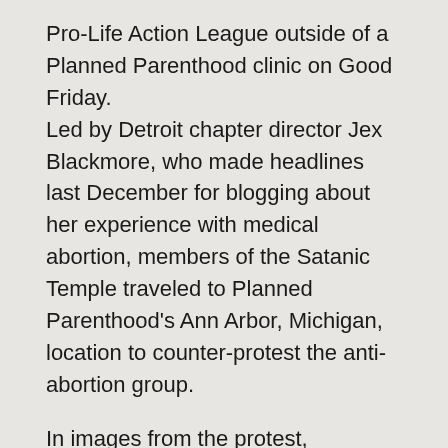Pro-Life Action League outside of a Planned Parenthood clinic on Good Friday. Led by Detroit chapter director Jex Blackmore, who made headlines last December for blogging about her experience with medical abortion, members of the Satanic Temple traveled to Planned Parenthood's Ann Arbor, Michigan, location to counter-protest the anti-abortion group.
In images from the protest, Blackmore can be seen wearing a crown of thorns and a faux pregnancy belly while carrying a cross meant to symbolize “the burden of oppressive mandates endured by women,” as the Satanic Temple noted in a press release.
(Via Memeorandum.)  The director of the Satanic Temple also blogged about the...